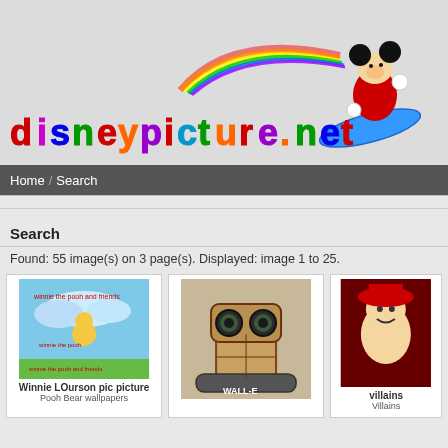[Figure (logo): disneypicture.net logo with colorful text and Mickey Mouse character surfing on a rainbow wave]
Home / Search
Search
Found: 55 image(s) on 3 page(s). Displayed: image 1 to 25.
[Figure (photo): Winnie LOurson pic picture - Pooh Bear wallpapers thumbnail]
[Figure (photo): WALL-E robot picture thumbnail]
[Figure (photo): villains - Villains Disney picture thumbnail]